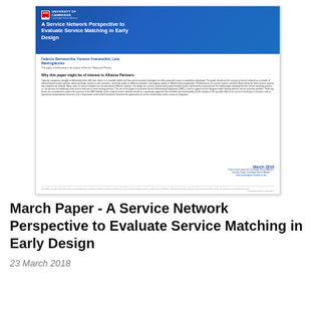[Figure (illustration): Thumbnail of an academic paper cover page from the Cambridge Service Alliance. Features a blue header with the University of Cambridge logo and the title 'A Service Network Perspective to Evaluate Service Matching in Early Design', authors Federico Barravecchia, Fiorenzo Franceschini, Luca Mastrogiacomo, a body section with abstract text, and a footer with March 2018 date and Cambridge Service Alliance branding.]
March Paper - A Service Network Perspective to Evaluate Service Matching in Early Design
23 March 2018